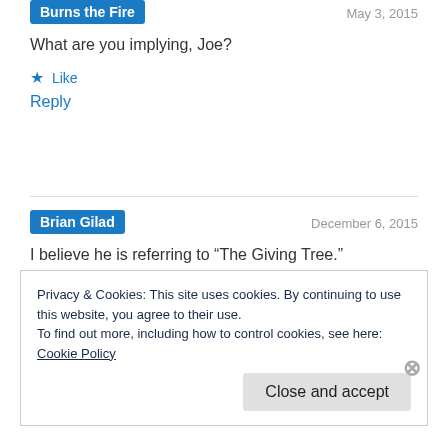Burns the Fire
May 3, 2015
What are you implying, Joe?
★ Like
Reply
Brian Gilad
December 6, 2015
I believe he is referring to “The Giving Tree.”
Privacy & Cookies: This site uses cookies. By continuing to use this website, you agree to their use.
To find out more, including how to control cookies, see here: Cookie Policy
Close and accept